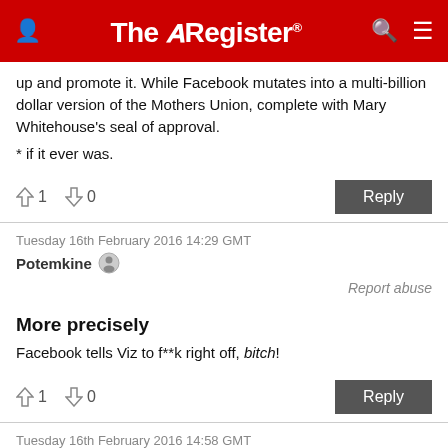The Register
up and promote it. While Facebook mutates into a multi-billion dollar version of the Mothers Union, complete with Mary Whitehouse's seal of approval.
* if it ever was.
↑1  ↓0   Reply
Tuesday 16th February 2016 14:29 GMT
Potemkine
Report abuse
More precisely
Facebook tells Viz to f**k right off, bitch!
↑1  ↓0   Reply
Tuesday 16th February 2016 14:58 GMT
Rol